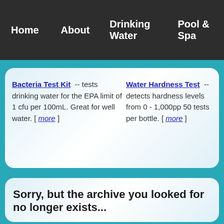Home  About  Drinking Water  Pool & Spa
Bacteria Test Kit -- tests drinking water for the EPA limit of 1 cfu per 100mL. Great for well water. [ more ]
Water Hardness Test -- detects hardness levels from 0 - 1,000pp 50 tests per bottle. [ more ]
Sorry, but the archive you looked for no longer exists...